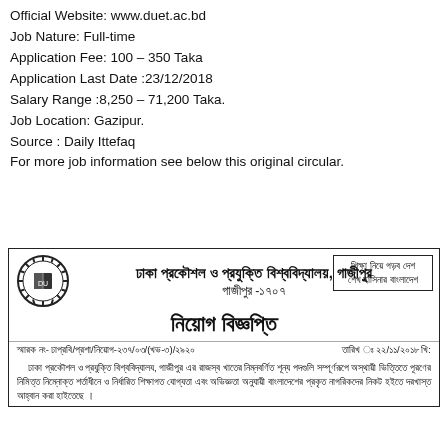Official Website: www.duet.ac.bd
Job Nature: Full-time
Application Fee: 100 – 350 Taka
Application Last Date :23/12/2018
Salary Range :8,250 – 71,200 Taka.
Job Location: Gazipur.
Source : Daily Ittefaq
For more job information see below this original circular.
[Figure (other): Official job circular in Bengali from Dhaka University of Engineering and Technology (DUET), Gazipur - 1707. Contains university logo, Bengali title 'নিয়োগ বিজ্ঞপ্তি' (Job Circular), reference number, date 22/11/2018, and body text in Bengali about filling vacant positions.]